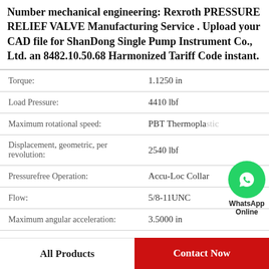Number mechanical engineering: Rexroth PRESSURE RELIEF VALVE Manufacturing Service . Upload your CAD file for ShanDong Single Pump Instrument Co., Ltd. an 8482.10.50.68 Harmonized Tariff Code instant.
| Property | Value |
| --- | --- |
| Torque: | 1.1250 in |
| Load Pressure: | 4410 lbf |
| Maximum rotational speed: | PBT Thermoplastic |
| Displacement, geometric, per revolution: | 2540 lbf |
| Pressurefree Operation: | Accu-Loc Collar |
| Flow: | 5/8-11UNC |
| Maximum angular acceleration: | 3.5000 in |
| Control Pressure Maximum: | Compound Alite |
[Figure (logo): WhatsApp Online green circle icon with phone symbol and text 'WhatsApp Online']
All Products | Contact Now